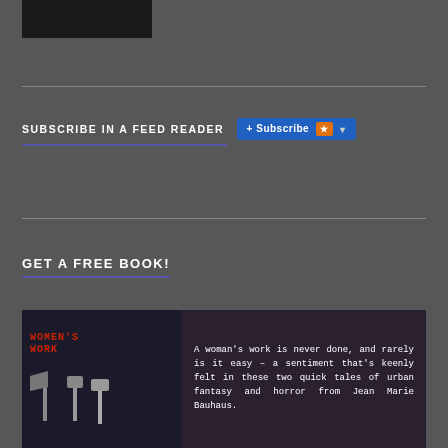[Figure (photo): Dark book cover image thumbnail at top left]
SUBSCRIBE IN A FEED READER
[Figure (other): Subscribe button with RSS icon and dropdown arrow]
GET A FREE BOOK!
[Figure (other): Book promotion banner for Women's Work by Jean Marie Bauhaus showing axes and tools on the left and descriptive text on the right: A woman's work is never done, and rarely is it easy – a sentiment that's keenly felt in these two quick tales of urban fantasy and horror from Jean Marie Bauhaus.]